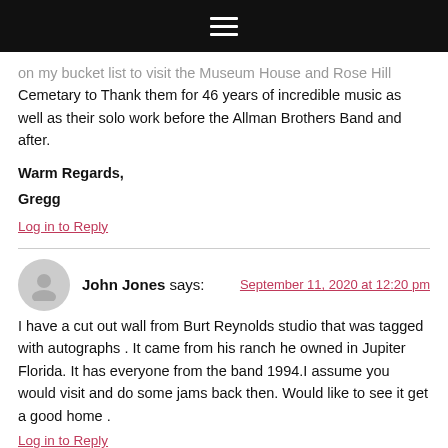Navigation bar with hamburger menu
on my bucket list to visit the Museum House and Rose Hill Cemetary to Thank them for 46 years of incredible music as well as their solo work before the Allman Brothers Band and after.
Warm Regards,
Gregg
Log in to Reply
John Jones says:
September 11, 2020 at 12:20 pm
I have a cut out wall from Burt Reynolds studio that was tagged with autographs . It came from his ranch he owned in Jupiter Florida. It has everyone from the band 1994.I assume you would visit and do some jams back then. Would like to see it get a good home .
Log in to Reply